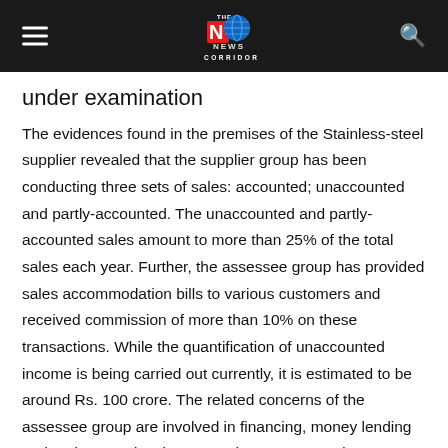The News Corridor
under examination
The evidences found in the premises of the Stainless-steel supplier revealed that the supplier group has been conducting three sets of sales: accounted; unaccounted and partly-accounted. The unaccounted and partly-accounted sales amount to more than 25% of the total sales each year. Further, the assessee group has provided sales accommodation bills to various customers and received commission of more than 10% on these transactions. While the quantification of unaccounted income is being carried out currently, it is estimated to be around Rs. 100 crore. The related concerns of the assessee group are involved in financing, money lending and real estate development. The unaccounted transactions conducted by these entities and the amounts deposited by these in the entities